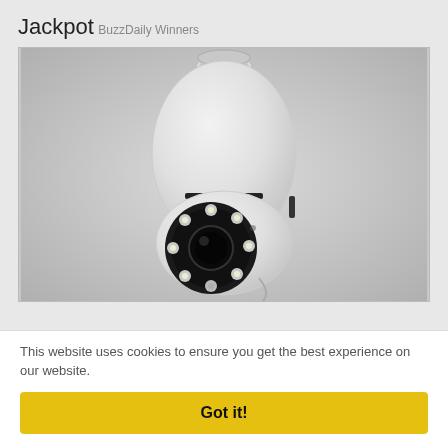Jackpot
BuzzDaily Winners
[Figure (photo): A white PTZ security camera shaped like a light bulb with a black circular lens housing containing multiple LED lights, mounted on a screw-type base, photographed against a light gray background.]
This website uses cookies to ensure you get the best experience on our website.
Got it!